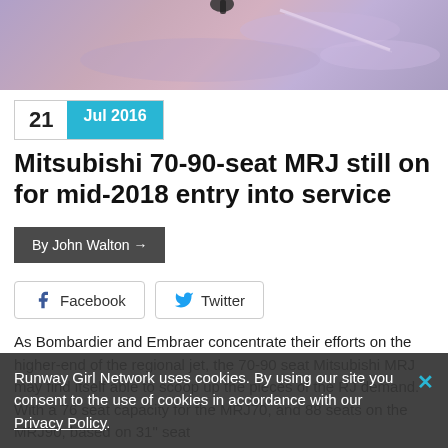[Figure (photo): Airplane in flight with pinkish-purple cloudy sky background]
21  Jul 2016
Mitsubishi 70-90-seat MRJ still on for mid-2018 entry into service
By John Walton →
Facebook   Twitter
As Bombardier and Embraer concentrate their efforts on the higher-end of the regional jet, the 70-90 seat Mitsubishi MRJ may find itself able to scoop up the pieces of the RJ demand. With a 76 seat capacity for the MRJ70, and 88 seats on the MRJ90, based on 31" seat
Runway Girl Network uses cookies. By using our site you consent to the use of cookies in accordance with our Privacy Policy.